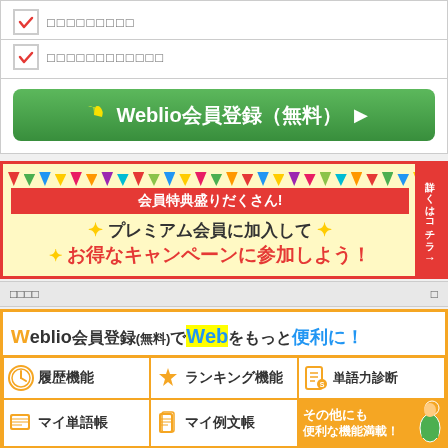□□□□□□□□□
□□□□□□□□□□□□
Weblio会員登録（無料）▶
[Figure (infographic): Campaign banner: 会員特典盛りだくさん！プレミアム会員に加入してお得なキャンペーンに参加しよう！ with red ribbon and festive decorations]
□□□□  □
[Figure (infographic): Weblio membership registration banner showing features: 履歴機能、ランキング機能、単語力診断、マイ単語帳、マイ例文帳 and その他にも便利な機能満載！]